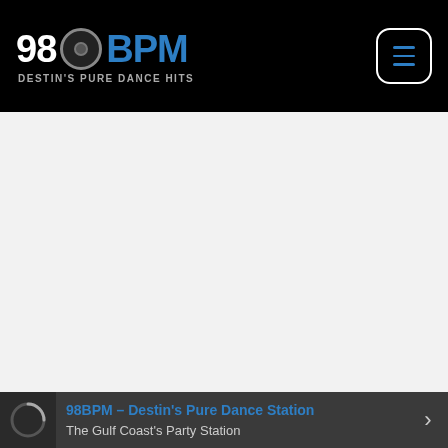98BPM DESTIN'S PURE DANCE HITS
[Figure (screenshot): Large empty grey content area below the navigation header]
98BPM – Destin's Pure Dance Station
The Gulf Coast's Party Station